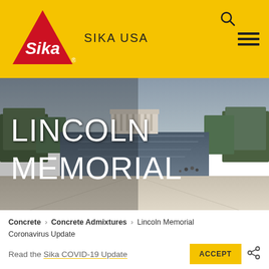[Figure (logo): Sika logo: red triangle with white Sika script and registered trademark, on yellow background header bar. SIKA USA text to the right. Search icon and hamburger menu in top right.]
[Figure (photo): Lincoln Memorial reflecting pool photo. Wide shot looking toward the Lincoln Memorial building, with the long rectangular reflecting pool in center, tree-lined paths on both sides, overcast sky. Text overlay reads LINCOLN MEMORIAL in large white letters.]
Concrete > Concrete Admixtures > Lincoln Memorial
Coronavirus Update
Read the Sika COVID-19 Update
ACCEPT